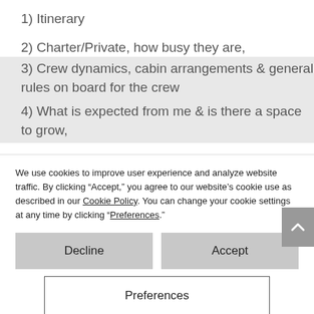1) Itinerary
2) Charter/Private, how busy they are,
3) Crew dynamics, cabin arrangements & general rules on board for the crew
4) What is expected from me & is there a space to grow,
We use cookies to improve user experience and analyze website traffic. By clicking “Accept,” you agree to our website’s cookie use as described in our Cookie Policy. You can change your cookie settings at any time by clicking “Preferences.”
Decline
Accept
Preferences